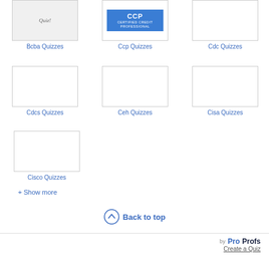[Figure (screenshot): Bcba Quizzes card image with quiz label]
Bcba Quizzes
[Figure (screenshot): Ccp Quizzes card image with CCP certified credit professional logo]
Ccp Quizzes
[Figure (screenshot): Cdc Quizzes card image empty]
Cdc Quizzes
[Figure (screenshot): Cdcs Quizzes card image empty]
Cdcs Quizzes
[Figure (screenshot): Ceh Quizzes card image empty]
Ceh Quizzes
[Figure (screenshot): Cisa Quizzes card image empty]
Cisa Quizzes
[Figure (screenshot): Cisco Quizzes card image empty]
Cisco Quizzes
+ Show more
Back to top
by ProProfs Create a Quiz